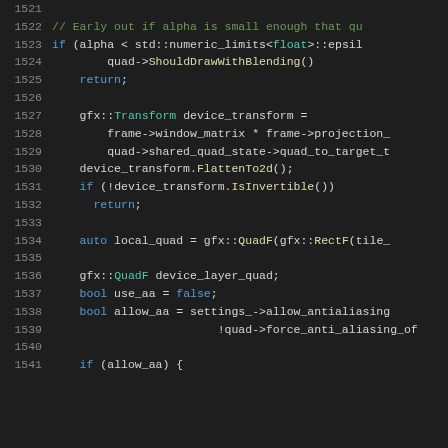Source code listing, lines 1521-1541, showing C++ code with syntax highlighting